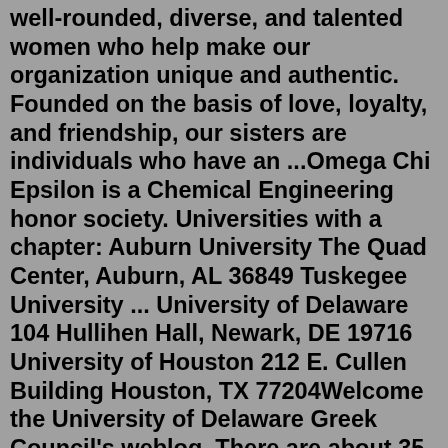well-rounded, diverse, and talented women who help make our organization unique and authentic. Founded on the basis of love, loyalty, and friendship, our sisters are individuals who have an ...Omega Chi Epsilon is a Chemical Engineering honor society. Universities with a chapter: Auburn University The Quad Center, Auburn, AL 36849 Tuskegee University ... University of Delaware 104 Hullihen Hall, Newark, DE 19716 University of Houston 212 E. Cullen Building Houston, TX 77204Welcome the University of Delaware Greek Council's weblog. There are about 35 fraternity and sorority chapters at the University of Delaware, and between 10 and 13% of the undergraduate student body is affiliated with Greek life at UD. I created this weblog as a source for the members of the Greek community to reach out and open our events to ...Alpha Chi Omega. As we let our own light shine, we give others permission to do the same. Alpha Chi Omega takes great pride in being a sisterhood full of well-rounded, diverse, and talented